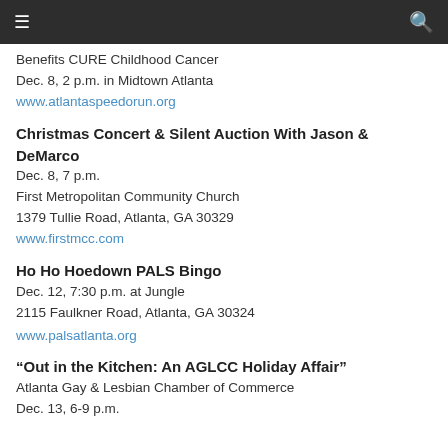≡  🔍
Benefits CURE Childhood Cancer
Dec. 8, 2 p.m. in Midtown Atlanta
www.atlantaspeedorun.org
Christmas Concert & Silent Auction With Jason & DeMarco
Dec. 8, 7 p.m.
First Metropolitan Community Church
1379 Tullie Road, Atlanta, GA 30329
www.firstmcc.com
Ho Ho Hoedown PALS Bingo
Dec. 12, 7:30 p.m. at Jungle
2115 Faulkner Road, Atlanta, GA 30324
www.palsatlanta.org
“Out in the Kitchen: An AGLCC Holiday Affair”
Atlanta Gay & Lesbian Chamber of Commerce
Dec. 13, 6-9 p.m.